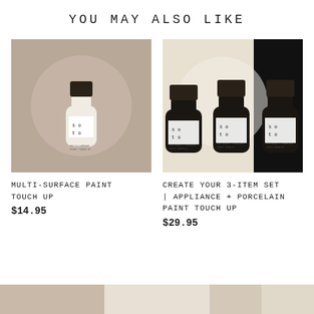YOU MAY ALSO LIKE
[Figure (photo): Sato multi-surface paint touch up bottle on a taupe background with circular paint swatch]
MULTI-SURFACE PAINT TOUCH UP
$14.95
[Figure (photo): Three black Sato appliance + porcelain paint touch up bottles on split cream and black background]
Create Your 3-Item Set | APPLIANCE + PORCELAIN PAINT TOUCH UP
$29.95